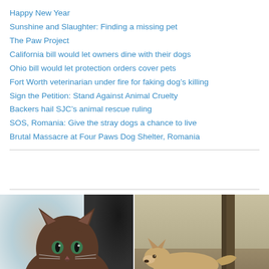Happy New Year
Sunshine and Slaughter: Finding a missing pet
The Paw Project
California bill would let owners dine with their dogs
Ohio bill would let protection orders cover pets
Fort Worth veterinarian under fire for faking dog’s killing
Sign the Petition: Stand Against Animal Cruelty
Backers hail SJC’s animal rescue ruling
SOS, Romania: Give the stray dogs a chance to live
Brutal Massacre at Four Paws Dog Shelter, Romania
[Figure (photo): Close-up photo of a brown/chocolate cat with green eyes looking at camera]
[Figure (photo): Photo of a wolf or coyote resting on the ground near a tree]